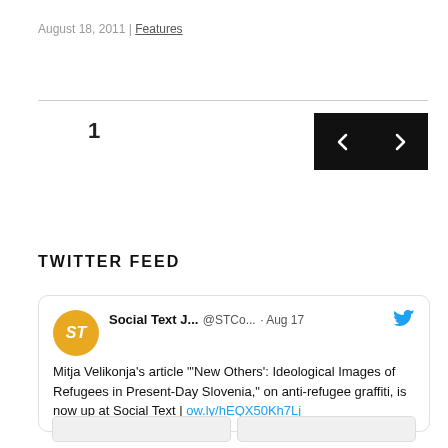August 18, 2011 | Features
1
[Figure (other): Navigation buttons: left arrow and right arrow on black background]
TWITTER FEED
[Figure (screenshot): Tweet from Social Text J... @STCo... Aug 17: Mitja Velikonja's article "'New Others': Ideological Images of Refugees in Present-Day Slovenia," on anti-refugee graffiti, is now up at Social Text | ow.ly/hEQX50Kh7Lj]